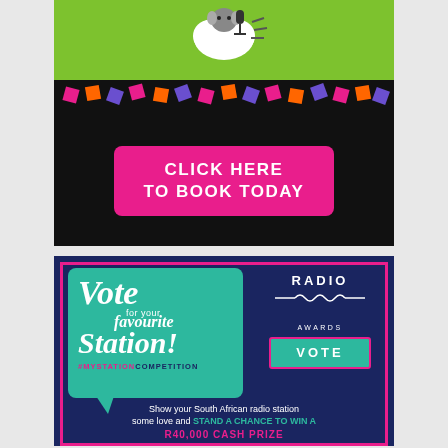[Figure (illustration): Top advertisement banner with green background showing animated sheep/character, colorful confetti shapes, black lower section with pink 'CLICK HERE TO BOOK TODAY' button]
CLICK HERE TO BOOK TODAY
[Figure (illustration): Radio Awards advertisement on dark navy background. Teal speech bubble with white script text 'Vote for your favourite Station!' and #MYSTATIONCOMPETITION. Right side shows RADIO AWARDS logo and green VOTE button. Bottom text: Show your South African radio station some love and STAND A CHANCE TO WIN A R40,000 CASH PRIZE]
Vote for your favourite Station! #MYSTATIONCOMPETITION
RADIO AWARDS
VOTE
Show your South African radio station some love and STAND A CHANCE TO WIN A R40,000 CASH PRIZE